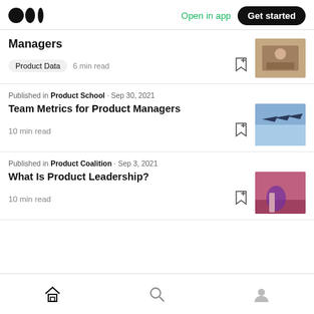Medium logo | Open in app | Get started
Managers
Product Data  6 min read
Published in Product School · Sep 30, 2021
Team Metrics for Product Managers
10 min read
Published in Product Coalition · Sep 3, 2021
What Is Product Leadership?
10 min read
Home | Search | Profile